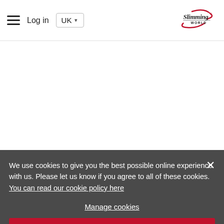[Figure (screenshot): Slimming World website header with hamburger menu, Log in link, UK dropdown selector, and Slimming World logo]
[Figure (screenshot): Search bar with postcode input field and red 'Find your group' button on dark background]
Oops, something went wrong!
We use cookies to give you the best possible online experience with us. Please let us know if you agree to all of these cookies. You can read our cookie policy here
Manage cookies
Allow all cookies